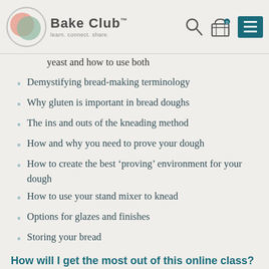[Figure (logo): Bake Club logo with circular emblem containing pink and green colors, with text 'Bake Club' and tagline 'learn. connect. share.']
yeast and how to use both
Demystifying bread-making terminology
Why gluten is important in bread doughs
The ins and outs of the kneading method
How and why you need to prove your dough
How to create the best ‘proving’ environment for your dough
How to use your stand mixer to knead
Options for glazes and finishes
Storing your bread
How will I get the most out of this online class?
To get the most out of this class, you need to set aside the